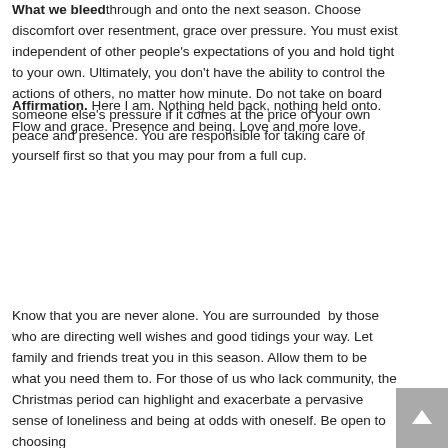What we bleed through and onto the next season. Choose discomfort over resentment, grace over pressure. You must exist independent of other people's expectations of you and hold tight to your own. Ultimately, you don't have the ability to control the actions of others, no matter how minute. Do not take on board someone else's pressure if it comes at the price of your own peace and presence. You are responsible for taking care of yourself first so that you may pour from a full cup.
Affirmation. Here I am. Nothing held back, nothing held onto. Flow and grace. Presence and being. Love and more love.
Know that you are never alone. You are surrounded by those who are directing well wishes and good tidings your way. Let family and friends treat you in this season. Allow them to be what you need them to. For those of us who lack community, the Christmas period can highlight and exacerbate a pervasive sense of loneliness and being at odds with oneself. Be open to choosing